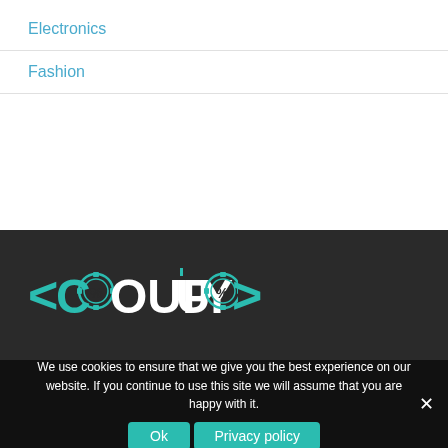Electronics
Fashion
[Figure (logo): Coupuyo logo in teal and white on dark background, stylized text with percentage symbols and gear icons]
We use cookies to ensure that we give you the best experience on our website. If you continue to use this site we will assume that you are happy with it.
Ok  Privacy policy